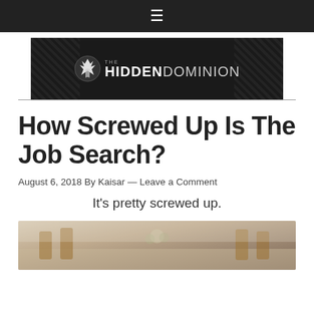☰
[Figure (logo): The Hidden Dominion logo — dark banner with diagonal texture on sides, spartan helmet icon, text THE HIDDENDOMINION]
How Screwed Up Is The Job Search?
August 6, 2018 By Kaisar — Leave a Comment
It's pretty screwed up.
[Figure (photo): Photo of a room with chairs and flowers on a table, partially visible at bottom of page]